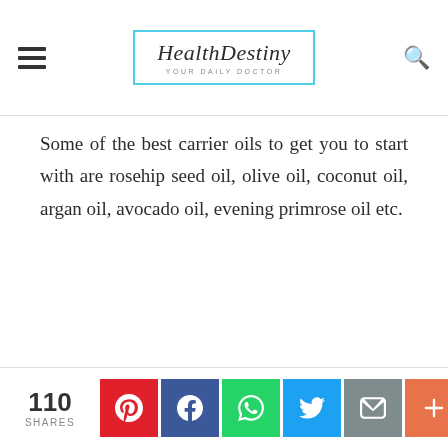HealthDestiny — YOUR DAILY DOCTOR
Some of the best carrier oils to get you to start with are rosehip seed oil, olive oil, coconut oil, argan oil, avocado oil, evening primrose oil etc.
110 SHARES — Pinterest, Facebook, WhatsApp, Twitter, Email, More